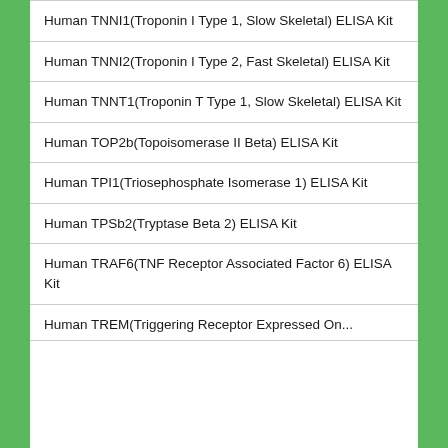Human TNNI1(Troponin I Type 1, Slow Skeletal) ELISA Kit
Human TNNI2(Troponin I Type 2, Fast Skeletal) ELISA Kit
Human TNNT1(Troponin T Type 1, Slow Skeletal) ELISA Kit
Human TOP2b(Topoisomerase II Beta) ELISA Kit
Human TPI1(Triosephosphate Isomerase 1) ELISA Kit
Human TPSb2(Tryptase Beta 2) ELISA Kit
Human TRAF6(TNF Receptor Associated Factor 6) ELISA Kit
Human TREM(Triggering Receptor Expressed On...)